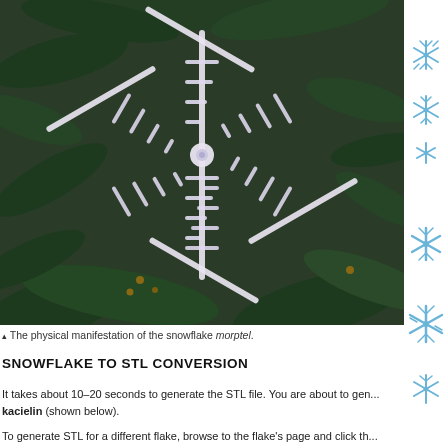[Figure (photo): A white 3D-printed snowflake ornament hanging on a Christmas tree with green pine branches in the background. The snowflake is named morptel.]
▴ The physical manifestation of the snowflake morptel.
SNOWFLAKE TO STL CONVERSION
It takes about 10–20 seconds to generate the STL file. You are about to gen... kacielin (shown below).
To generate STL for a different flake, browse to the flake's page and click th...